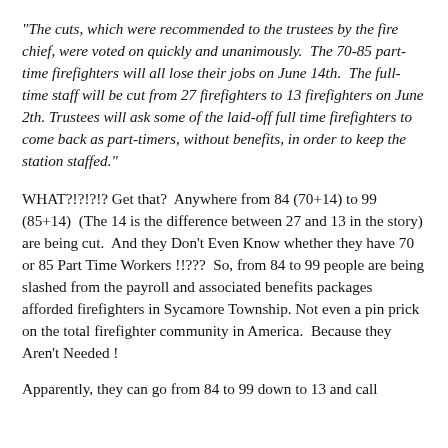"The cuts, which were recommended to the trustees by the fire chief, were voted on quickly and unanimously.  The 70-85 part-time firefighters will all lose their jobs on June 14th.  The full-time staff will be cut from 27 firefighters to 13 firefighters on June 2th. Trustees will ask some of the laid-off full time firefighters to come back as part-timers, without benefits, in order to keep the station staffed."
WHAT?!?!?!? Get that?  Anywhere from 84 (70+14) to 99 (85+14)  (The 14 is the difference between 27 and 13 in the story) are being cut.  And they Don't Even Know whether they have 70 or 85 Part Time Workers !!???  So, from 84 to 99 people are being slashed from the payroll and associated benefits packages afforded firefighters in Sycamore Township. Not even a pin prick on the total firefighter community in America.  Because they Aren't Needed !
Apparently, they can go from 84 to 99 down to 13 and call